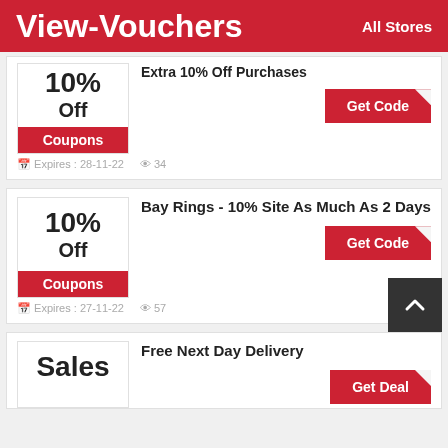View-Vouchers   All Stores
10% Off
Coupons
Extra 10% Off Purchases
Get Code
Expires : 28-11-22   34
Bay Rings - 10% Site As Much As 2 Days
10% Off
Coupons
Get Code
Expires : 27-11-22   57
Free Next Day Delivery
Sales